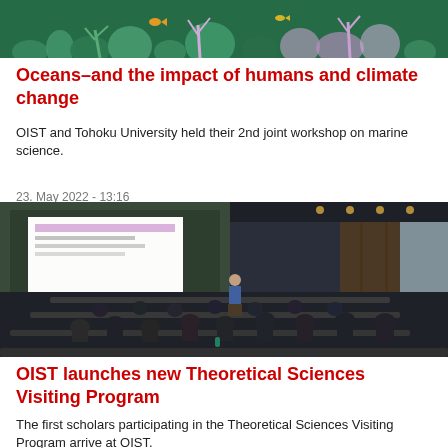[Figure (photo): Underwater coral reef scene with fish and colorful coral formations]
Oceans–and the impact of humans and climate change
OIST and Tohoku University held their 2nd joint workshop on marine science.
23. May 2022 - 13:16
[Figure (photo): Lecture hall with audience attending a presentation, speaker at front with projected slides]
OIST launches new Theoretical Sciences Visiting Program
The first scholars participating in the Theoretical Sciences Visiting Program arrive at OIST.